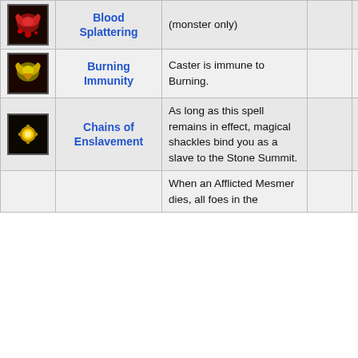| Icon | Name | Description |  |  |
| --- | --- | --- | --- | --- |
| [icon] | Blood Splattering | (monster only) |  | [mask] |
| [icon] | Burning Immunity | Caster is immune to Burning. |  | [mask] |
| [icon] | Chains of Enslavement | As long as this spell remains in effect, magical shackles bind you as a slave to the Stone Summit. |  | [mask] |
|  |  | When an Afflicted Mesmer dies, all foes in the... |  |  |